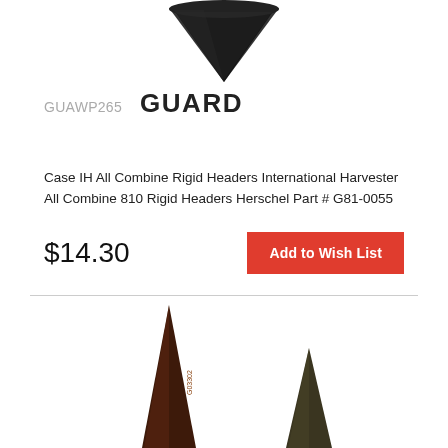[Figure (photo): Close-up of a black pointed guard/knife part photographed from above, cropped at top of frame]
GUAWP265   GUARD
Case IH All Combine Rigid Headers International Harvester All Combine 810 Rigid Headers Herschel Part # G81-0055
$14.30
Add to Wish List
[Figure (photo): Two dark reddish-brown pointed guard/knife parts side by side, showing the narrow pointed tips, photographed from above against white background]